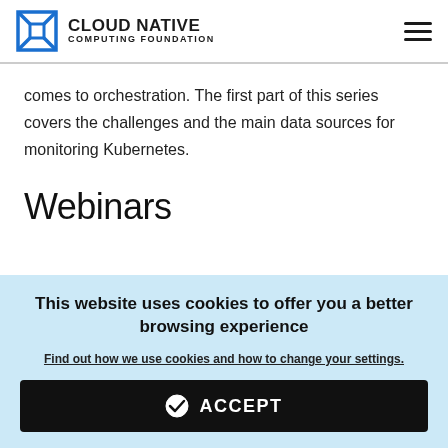CLOUD NATIVE COMPUTING FOUNDATION
comes to orchestration. The first part of this series covers the challenges and the main data sources for monitoring Kubernetes.
Webinars
This website uses cookies to offer you a better browsing experience
Find out how we use cookies and how to change your settings.
ACCEPT